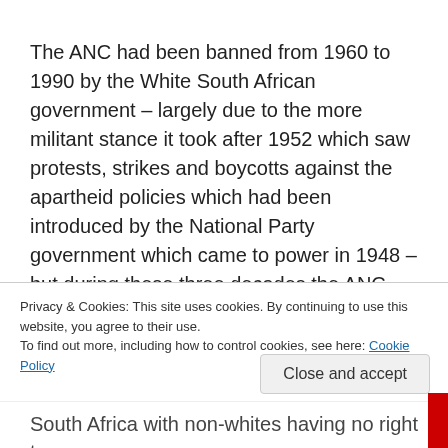The ANC had been banned from 1960 to 1990 by the White South African government – largely due to the more militant stance it took after 1952 which saw protests, strikes and boycotts against the  apartheid policies which had been introduced by the National Party government which came to power in 1948 – but during these three decades the ANC operated both underground and outside South African territory.
Privacy & Cookies: This site uses cookies. By continuing to use this website, you agree to their use.
To find out more, including how to control cookies, see here: Cookie Policy
Close and accept
South Africa with non-whites having no right to